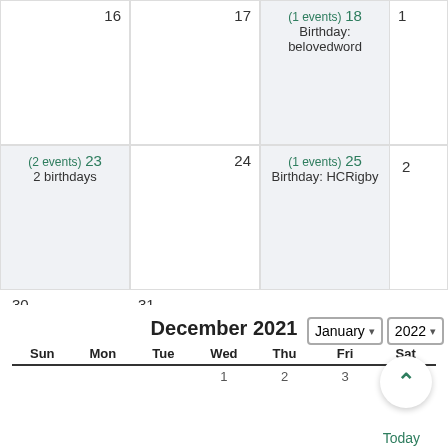[Figure (other): Calendar view showing December dates 16-31 with events. Day 18: Birthday: belovedword (1 event). Day 23: 2 birthdays (2 events). Day 25: Birthday: HCRigby (1 event). Days 30, 31 shown at bottom.]
December 2021
| Sun | Mon | Tue | Wed | Thu | Fri | Sat |
| --- | --- | --- | --- | --- | --- | --- |
|  |  |  | 1 | 2 | 3 | 4 |
January 2022 (dropdown selectors)
Today